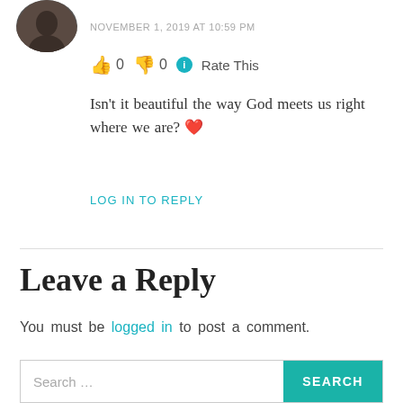[Figure (photo): Circular avatar photo of a person, partially cropped at top-left of page]
NOVEMBER 1, 2019 AT 10:59 PM
👍 0 👎 0 ℹ Rate This
Isn't it beautiful the way God meets us right where we are? ❤
LOG IN TO REPLY
Leave a Reply
You must be logged in to post a comment.